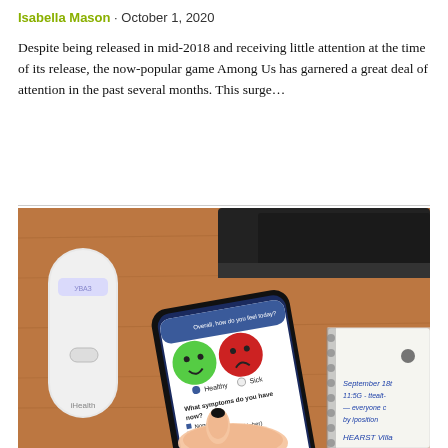Isabella Mason · October 1, 2020
Despite being released in mid-2018 and receiving little attention at the time of its release, the now-popular game Among Us has garnered a great deal of attention in the past several months. This surge…
[Figure (photo): Photo of a white iHealth device and a smartphone displaying a health survey app showing 'Overall, how do you feel today?' with healthy and sick face options, and a spiral notebook on a wooden desk.]